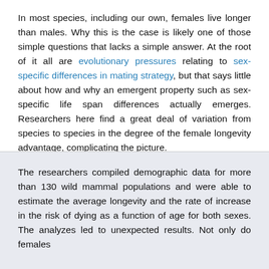In most species, including our own, females live longer than males. Why this is the case is likely one of those simple questions that lacks a simple answer. At the root of it all are evolutionary pressures relating to sex-specific differences in mating strategy, but that says little about how and why an emergent property such as sex-specific life span differences actually emerges. Researchers here find a great deal of variation from species to species in the degree of the female longevity advantage, complicating the picture.
The researchers compiled demographic data for more than 130 wild mammal populations and were able to estimate the average longevity and the rate of increase in the risk of dying as a function of age for both sexes. The analyzes led to unexpected results. Not only do females